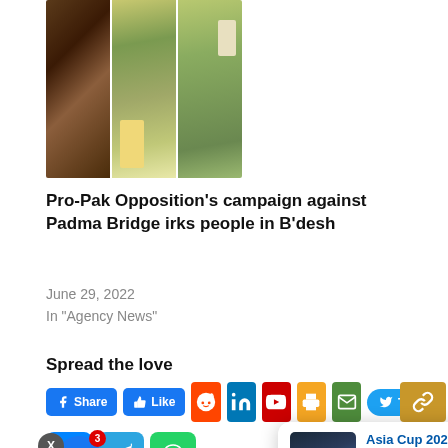[Figure (photo): Composite of three photos related to article about Padma Bridge]
Pro-Pak Opposition's campaign against Padma Bridge irks people in B'desh
June 29, 2022
In "Agency News"
Spread the love
[Figure (screenshot): Social media sharing buttons: Facebook Share, Like, Reddit, LinkedIn, YouTube, Print, Email, Tweet, Link, Messenger, Telegram, WhatsApp]
[Figure (screenshot): Popup notification: Asia Cup 2022: Pandya, Jadeja heroics help India - 12 minutes ago]
K'taka CM appeals to Stalin...
Cuba sets new record for daily...